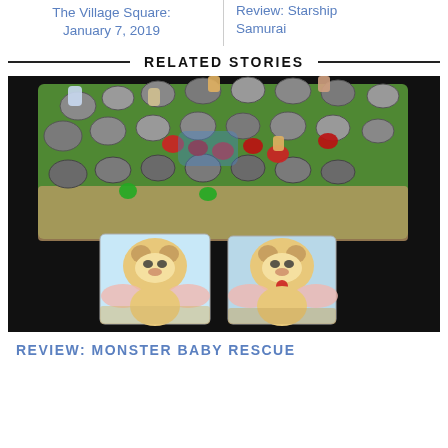The Village Square: January 7, 2019
Review: Starship Samurai
RELATED STORIES
[Figure (photo): Board game photo showing a colorful game board with stone path spaces, red gem pieces, animal figurines, and two bear character cards at the bottom against a black background.]
REVIEW: MONSTER BABY RESCUE